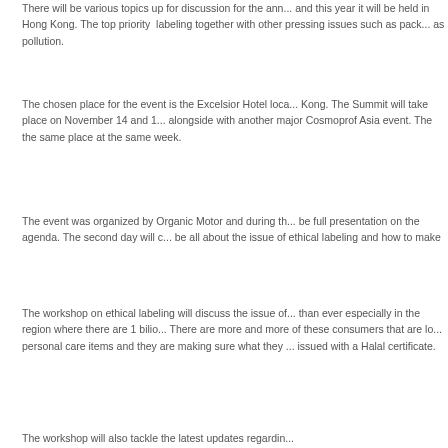There will be various topics up for discussion for the annual summit and this year it will be held in Hong Kong. The top priority is labeling together with other pressing issues such as packaging as well as pollution.
The chosen place for the event is the Excelsior Hotel located in Hong Kong. The Summit will take place on November 14 and 15, alongside with another major Cosmoprof Asia event. The event is at the same place at the same week.
The event was organized by Organic Motor and during the first day will be full presentation on the agenda. The second day will consist and will be all about the issue of ethical labeling and how to make it work.
The workshop on ethical labeling will discuss the issue of halal which is more than ever especially in the region where there are 1 billion Muslim consumers. There are more and more of these consumers that are looking for halal personal care items and they are making sure what they consume is issued with a Halal certificate.
The workshop will also tackle the latest updates regarding